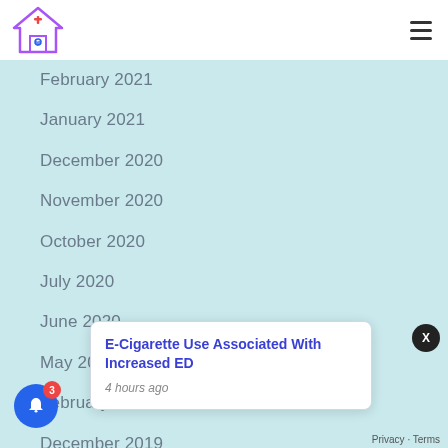Family Doctor Advice Logo / Navigation
February 2021
January 2021
December 2020
November 2020
October 2020
July 2020
June 2020
May 2020
February 2020
December 2019
October 2019
September 2019
August 2019
July 2019
E-Cigarette Use Associated With Increased ED
4 hours ago